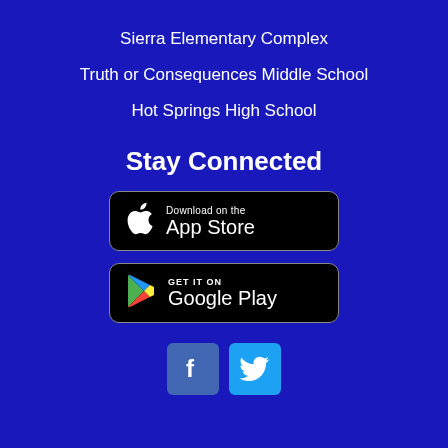Sierra Elementary Complex
Truth or Consequences Middle School
Hot Springs High School
Stay Connected
[Figure (logo): Download on the App Store button (black rounded rectangle with Apple logo)]
[Figure (logo): Get it on Google Play button (black rounded rectangle with Google Play logo)]
[Figure (logo): Facebook icon (blue square with white 'f') and Twitter icon (light blue square with white bird)]